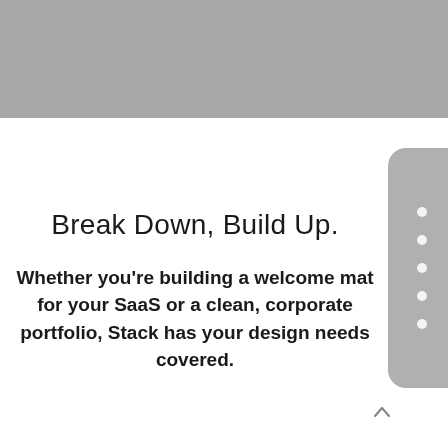[Figure (other): Gray banner across the top of the page, representing a screenshot or UI header area]
[Figure (other): Gray rounded sidebar widget on the right side with five white circular dots, resembling a scroll indicator or navigation dots]
Break Down, Build Up.
Whether you're building a welcome mat for your SaaS or a clean, corporate portfolio, Stack has your design needs covered.
[Figure (other): Small upward-pointing chevron/arrow icon at the bottom right, suggesting a scroll-up button]